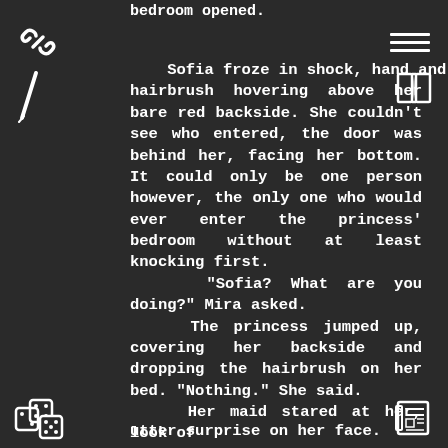bedroom opened.
Sofia froze in shock, hand and hairbrush hovering above her bare red backside. She couldn't see who entered, the door was behind her, facing her bottom. It could only be one person however, the only one who would ever enter the princess' bedroom without at least knocking first.
“Sofia? What are you doing?” Mira asked.
The princess jumped up, covering her backside and dropping the hairbrush on her bed. “Nothing.” She said.
Her maid stared at her, look of utter surprise on her face.